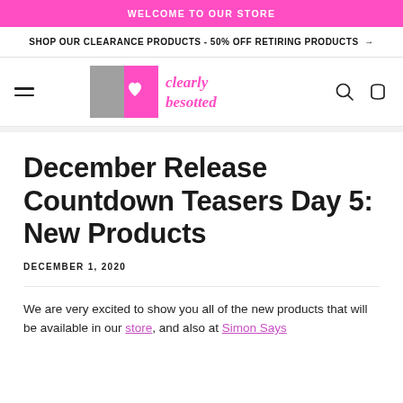WELCOME TO OUR STORE
SHOP OUR CLEARANCE PRODUCTS - 50% OFF RETIRING PRODUCTS →
[Figure (logo): Clearly Besotted logo with grey and pink squares and heart, pink text 'clearly besotted']
December Release Countdown Teasers Day 5: New Products
DECEMBER 1, 2020
We are very excited to show you all of the new products that will be available in our store, and also at Simon Says